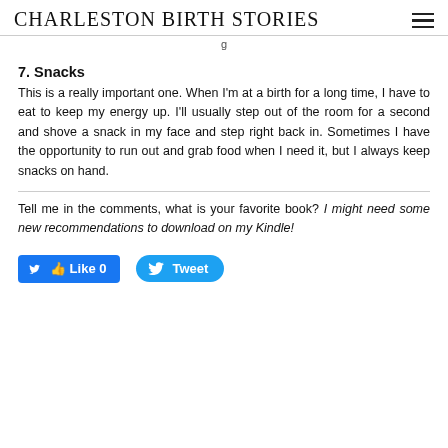CHARLESTON BIRTH STORIES
g
7. Snacks
This is a really important one. When I'm at a birth for a long time, I have to eat to keep my energy up. I'll usually step out of the room for a second and shove a snack in my face and step right back in. Sometimes I have the opportunity to run out and grab food when I need it, but I always keep snacks on hand.
Tell me in the comments, what is your favorite book? I might need some new recommendations to download on my Kindle!